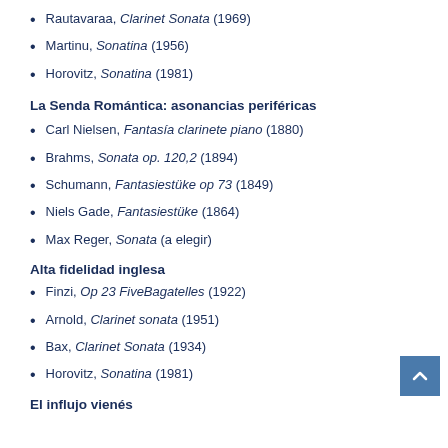Rautavaraa, Clarinet Sonata (1969)
Martinu, Sonatina (1956)
Horovitz, Sonatina (1981)
La Senda Romántica: asonancias periféricas
Carl Nielsen, Fantasía clarinete piano (1880)
Brahms, Sonata op. 120,2 (1894)
Schumann, Fantasiestüke op 73 (1849)
Niels Gade, Fantasiestüke (1864)
Max Reger, Sonata (a elegir)
Alta fidelidad inglesa
Finzi, Op 23 FiveBagatelles (1922)
Arnold, Clarinet sonata (1951)
Bax, Clarinet Sonata (1934)
Horovitz, Sonatina (1981)
El influjo vienés